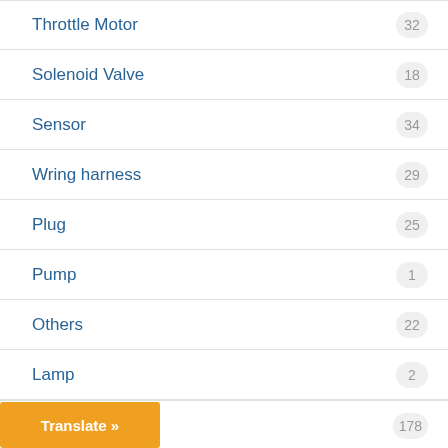Throttle Motor — 32
Solenoid Valve — 18
Sensor — 34
Wring harness — 29
Plug — 25
Pump — 1
Others — 22
Lamp — 2
Caterpillar... — 178
Translate »